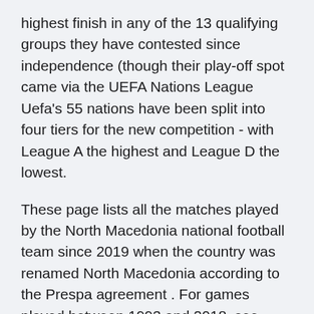highest finish in any of the 13 qualifying groups they have contested since independence (though their play-off spot came via the UEFA Nations League Uefa's 55 nations have been split into four tiers for the new competition - with League A the highest and League D the lowest.
These page lists all the matches played by the North Macedonia national football team since 2019 when the country was renamed North Macedonia according to the Prespa agreement . For games played between 1993 and 2018, see Macedonia national football team results . See full list on 90soccer.com Dec 03, 2020 · WC Qualification Europe; UEFA Nations League; Baltic Cup; UEFA Champions League; UEFA Europa League. 2020/2021.